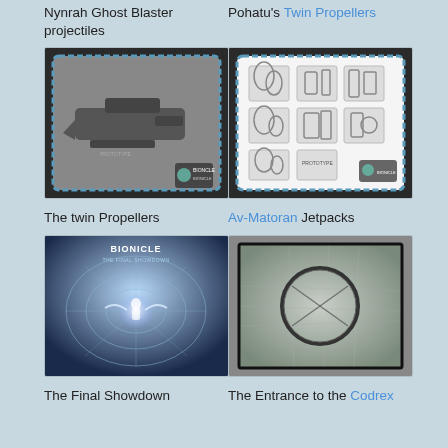Nynrah Ghost Blaster projectiles
Pohatu's Twin Propellers
[Figure (photo): Prototype image of a Nynrah Ghost Blaster weapon on a gray background with a black border and Bionicle logo watermark]
[Figure (photo): Prototype image showing multiple Av-Matoran Twin Propeller designs in a grid layout on white background with Bionicle logo watermark]
The twin Propellers
Av-Matoran Jetpacks
[Figure (photo): Bionicle The Final Showdown movie or game art showing a warrior with wings in a blue/white dramatic scene with BIONICLE text at top]
[Figure (photo): The Entrance to the Codrex — a metallic circular ring/portal on a silver-gray surface]
The Final Showdown
The Entrance to the Codrex